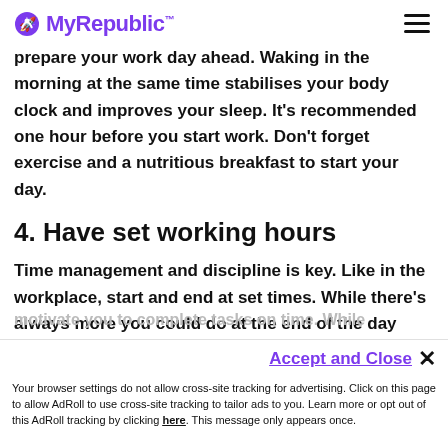MyRepublic
prepare your work day ahead. Waking in the morning at the same time stabilises your body clock and improves your sleep. It’s recommended one hour before you start work. Don’t forget exercise and a nutritious breakfast to start your day.
4. Have set working hours
Time management and discipline is key. Like in the workplace, start and end at set times. While there’s always more you could do at the end of the day (and into the night), it’s detrimental to your health and
burn out may ensue.
motivate you to complete tasks on time. While
Your browser settings do not allow cross-site tracking for advertising. Click on this page to allow AdRoll to use cross-site tracking to tailor ads to you. Learn more or opt out of this AdRoll tracking by clicking here. This message only appears once.